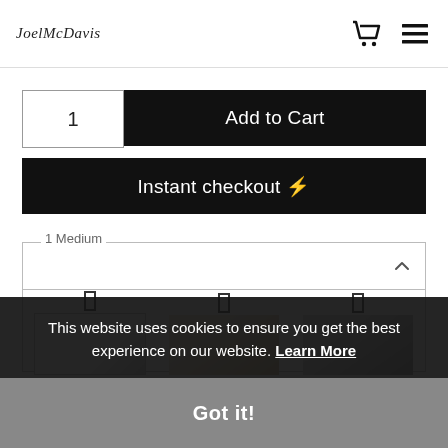JoelMcDavis — navigation header with cart and menu icons
1
Add to Cart
Instant checkout ⚡
1 Medium
[Figure (screenshot): Three product variant thumbnails (white, cream, silver) with radio buttons above each]
This website uses cookies to ensure you get the best experience on our website. Learn More
Got it!